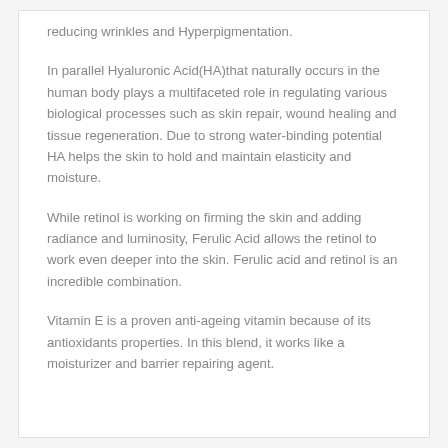reducing wrinkles and Hyperpigmentation.
In parallel Hyaluronic Acid(HA)that naturally occurs in the human body plays a multifaceted role in regulating various biological processes such as skin repair, wound healing and tissue regeneration. Due to strong water-binding potential HA helps the skin to hold and maintain elasticity and moisture.
While retinol is working on firming the skin and adding radiance and luminosity, Ferulic Acid allows the retinol to work even deeper into the skin. Ferulic acid and retinol is an incredible combination.
Vitamin E is a proven anti-ageing vitamin because of its antioxidants properties. In this blend, it works like a moisturizer and barrier repairing agent.